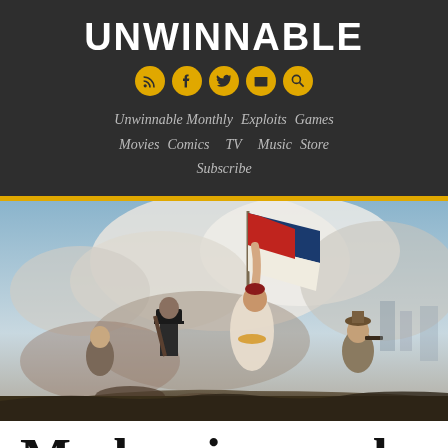UNWINNABLE
Unwinnable Monthly  Exploits  Games  Movies  Comics  TV  Music  Store  Subscribe
[Figure (photo): Delacroix's Liberty Leading the People painting showing a woman holding a French tricolor flag leading revolutionaries]
Modernism and